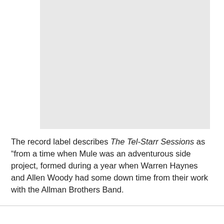[Figure (photo): A light gray placeholder rectangle representing an image, positioned at the top center of the page.]
The record label describes The Tel-Starr Sessions as “from a time when Mule was an adventurous side project, formed during a year when Warren Haynes and Allen Woody had some down time from their work with the Allman Brothers Band.